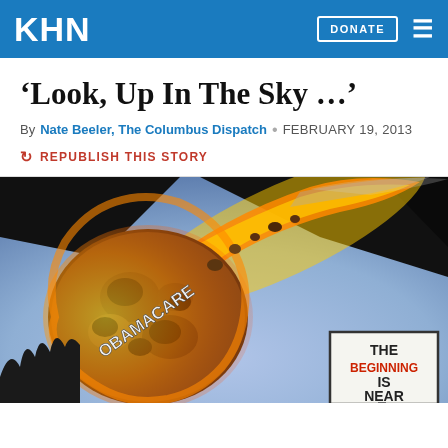KHN | DONATE
‘Look, Up In The Sky …’
By Nate Beeler, The Columbus Dispatch · FEBRUARY 19, 2013
REPUBLISH THIS STORY
[Figure (illustration): Editorial cartoon showing a meteor labeled 'OBAMACARE' streaking across a dark sky with fire and debris, heading toward a sign that reads 'THE BEGINNING IS NEAR']